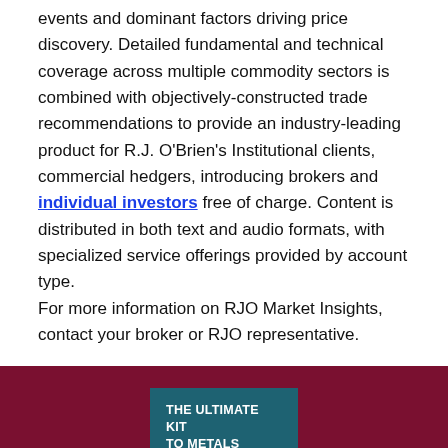events and dominant factors driving price discovery. Detailed fundamental and technical coverage across multiple commodity sectors is combined with objectively-constructed trade recommendations to provide an industry-leading product for R.J. O'Brien's Institutional clients, commercial hedgers, introducing brokers and individual investors free of charge. Content is distributed in both text and audio formats, with specialized service offerings provided by account type. For more information on RJO Market Insights, contact your broker or RJO representative.
[Figure (other): Teal colored box on dark red background with text: THE ULTIMATE KIT TO METALS FUTURES INVESTING]